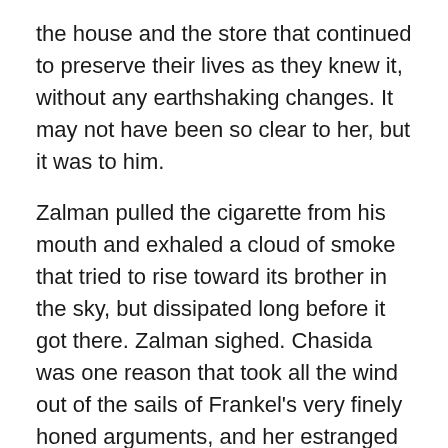the house and the store that continued to preserve their lives as they knew it, without any earthshaking changes. It may not have been so clear to her, but it was to him.
Zalman pulled the cigarette from his mouth and exhaled a cloud of smoke that tried to rise toward its brother in the sky, but dissipated long before it got there. Zalman sighed. Chasida was one reason that took all the wind out of the sails of Frankel's very finely honed arguments, and her estranged cousin was the second reason. If they would sell everything, after all, then why did they have to endure so many years of being cut off from Eliyahu, his only nephew? It was only because they hadn't agreed to sell years before that Eliyahu had cut his ties with their family to begin with.
Zalman laughed to himself. That had always been the